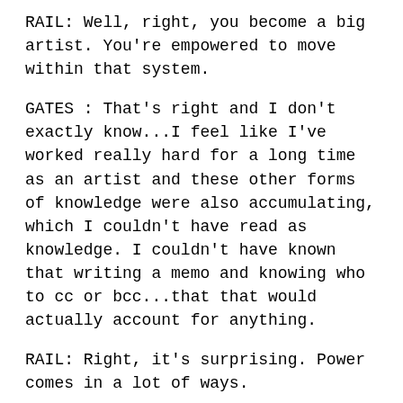RAIL: Well, right, you become a big artist. You're empowered to move within that system.
GATES : That's right and I don't exactly know...I feel like I've worked really hard for a long time as an artist and these other forms of knowledge were also accumulating, which I couldn't have read as knowledge. I couldn't have known that writing a memo and knowing who to cc or bcc...that that would actually account for anything.
RAIL: Right, it's surprising. Power comes in a lot of ways.
GATES : Yeah, and the exciting part now is that I feel like what I'm trying to do is learn to communicate, learning to make